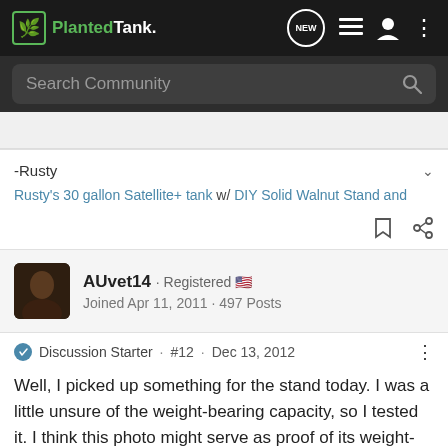PlantedTank · NEW
Search Community
-Rusty
Rusty's 30 gallon Satellite+ tank w/ DIY Solid Walnut Stand and
AUvet14 · Registered 🇺🇸
Joined Apr 11, 2011 · 497 Posts
Discussion Starter · #12 · Dec 13, 2012
Well, I picked up something for the stand today. I was a little unsure of the weight-bearing capacity, so I tested it. I think this photo might serve as proof of its weight-bearing ability. What do